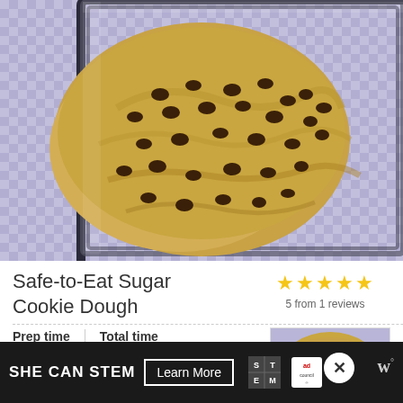[Figure (photo): Close-up photo of chocolate chip cookie dough in a glass baking dish, on a purple checkered tablecloth background]
Safe-to-Eat Sugar Cookie Dough
5 from 1 reviews
| Prep time | Total time |
| --- | --- |
| 10 mins | 10 mins |
[Figure (photo): Small thumbnail photo of the cookie dough recipe]
SHE CAN STEM  Learn More